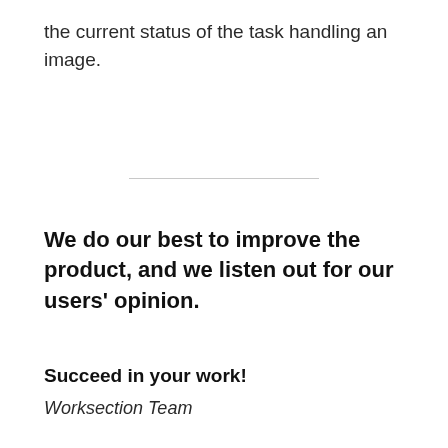the current status of the task handling an image.
[Figure (other): Horizontal divider line]
We do our best to improve the product, and we listen out for our users’ opinion.
Succeed in your work!
Worksection Team